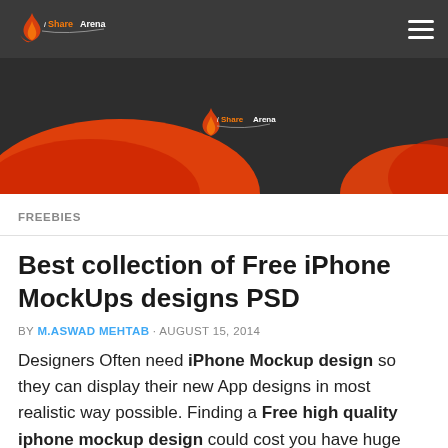iShareArena
[Figure (illustration): Hero banner with iShareArena branding on dark background with orange/red decorative wave shapes]
FREEBIES
Best collection of Free iPhone MockUps designs PSD
BY M.ASWAD MEHTAB · AUGUST 15, 2014
Designers Often need iPhone Mockup design so they can display their new App designs in most realistic way possible. Finding a Free high quality iphone mockup design could cost you have huge amount too, As I too suffered such thing , Recently When I designed an App UI I wanted it to be displayed in a neat manner and iPhone mockup is the best way to do it, but I have to